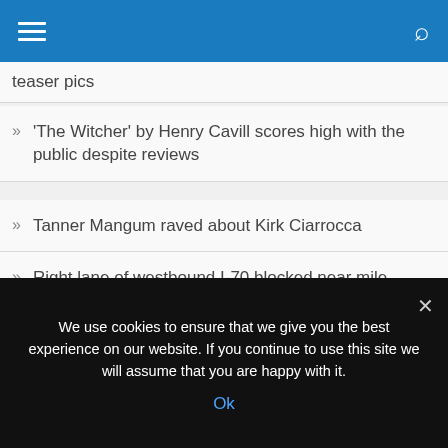teaser pics
'The Witcher' by Henry Cavill scores high with the public despite reviews
Tanner Mangum raved about Kirk Ciarrocca
Right lane of westbound I-70 blocked near mile marker 180
Do you want to start the new year? StarFlyer is giving away tickets
Tottenham fans name the 13 transfer goals to replace Kieran Trippier as a right-back
We use cookies to ensure that we give you the best experience on our website. If you continue to use this site we will assume that you are happy with it.
Ok